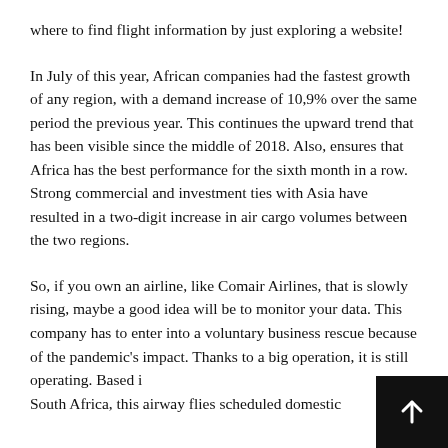where to find flight information by just exploring a website!
In July of this year, African companies had the fastest growth of any region, with a demand increase of 10,9% over the same period the previous year. This continues the upward trend that has been visible since the middle of 2018. Also, ensures that Africa has the best performance for the sixth month in a row. Strong commercial and investment ties with Asia have resulted in a two-digit increase in air cargo volumes between the two regions.
So, if you own an airline, like Comair Airlines, that is slowly rising, maybe a good idea will be to monitor your data. This company has to enter into a voluntary business rescue because of the pandemic's impact. Thanks to a big operation, it is still operating. Based in South Africa, this airway flies scheduled domestic